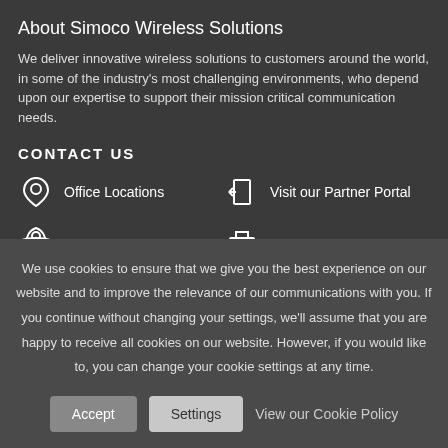About Simoco Wireless Solutions
We deliver innovative wireless solutions to customers around the world, in some of the industry's most challenging environments, who depend upon our expertise to support their mission critical communication needs.
CONTACT US
Office Locations
Visit our Partner Portal
We use cookies to ensure that we give you the best experience on our website and to improve the relevance of our communications with you. If you continue without changing your settings, we'll assume that you are happy to receive all cookies on our website. However, if you would like to, you can change your cookie settings at any time.
Accept | Settings | View our Cookie Policy